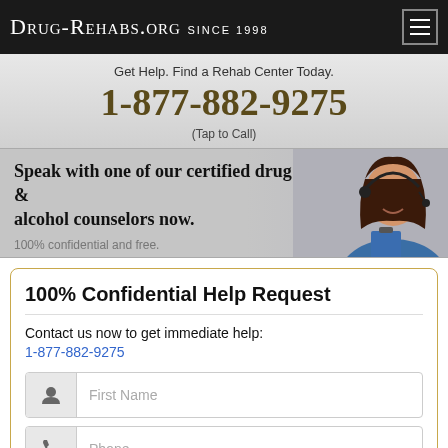Drug-Rehabs.org Since 1998
Get Help. Find a Rehab Center Today.
1-877-882-9275
(Tap to Call)
[Figure (photo): Woman wearing a headset, smiling, holding a clipboard. Text overlay: 'Speak with one of our certified drug & alcohol counselors now. 100% confidential and free.']
100% Confidential Help Request
Contact us now to get immediate help:
1-877-882-9275
First Name
Phone
How can we help?